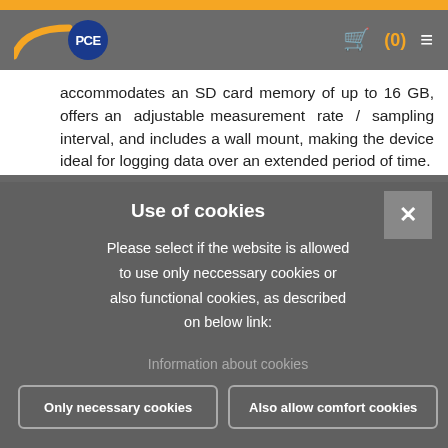[Figure (screenshot): PCE Instruments website navigation bar with orange logo curve, PCE badge, cart icon, and hamburger menu on gray background]
accommodates an SD card memory of up to 16 GB, offers an adjustable measurement rate / sampling interval, and includes a wall mount, making the device ideal for logging data over an extended period of time.
Use of cookies
Please select if the website is allowed to use only neccessary cookies or also functional cookies, as described on below link:
Information about cookies
Only necessary cookies
Also allow comfort cookies
All cookies allowed